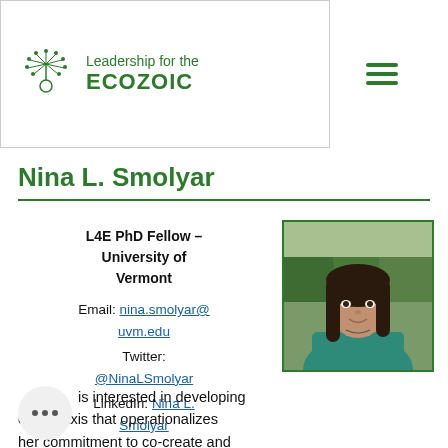Leadership for the ECOZOIC
Nina L. Smolyar
L4E PhD Fellow – University of Vermont
Email: nina.smolyar@uvm.edu
Twitter: @NinaLSmolyar
LinkedIn: Nina L. Smolyar
[Figure (photo): Headshot photo of Nina L. Smolyar, a woman with long dark hair wearing a teal top, photographed outdoors with trees in background.]
is interested in developing onal praxis that operationalizes her commitment to co-create and